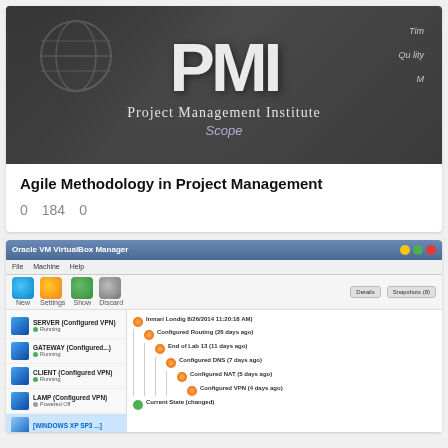[Figure (photo): PMI Project Management Institute banner image with a person in the background and PMI logo with text 'Project Management Institute' and 'Scope' visible]
Agile Methodology in Project Management
0   184   0
[Figure (screenshot): Oracle VM VirtualBox Manager screenshot showing virtual machines: SERVER (Configured VPN, Running), GATEWAY (Configured, Running), CLIENT (Configured VPN, Running), LAMP (Configured VPN, Powered Off), and REMOTE (Configured VPN, Powered Off) circled in red. The main panel shows snapshot history tree.]